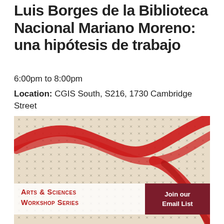Luis Borges de la Biblioteca Nacional Mariano Moreno: una hipótesis de trabajo
6:00pm to 8:00pm
Location: CGIS South, S216, 1730 Cambridge Street
[Figure (illustration): Artwork image showing a beige/cream textured background covered with small handwritten x marks in dark ink, with a bold red brushstroke or painted swirl across the surface. Overlaid text reads 'Arts & Sciences Workshop Series' in red on a semi-transparent white background, and 'Join our Email List' in white on a dark red background.]